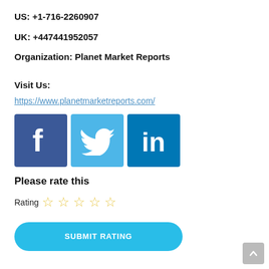US: +1-716-2260907
UK: +447441952057
Organization: Planet Market Reports
Visit Us:
https://www.planetmarketreports.com/
[Figure (logo): Social media icons: Facebook (blue), Twitter (light blue), LinkedIn (dark blue)]
Please rate this
Rating ☆ ☆ ☆ ☆ ☆
SUBMIT RATING